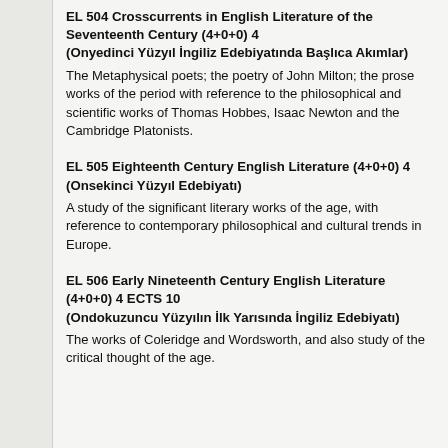EL 504 Crosscurrents in English Literature of the Seventeenth Century (4+0+0) 4 (Onyedinci Yüzyıl İngiliz Edebiyatında Başlıca Akımlar)
The Metaphysical poets; the poetry of John Milton; the prose works of the period with reference to the philosophical and scientific works of Thomas Hobbes, Isaac Newton and the Cambridge Platonists.
EL 505 Eighteenth Century English Literature (4+0+0) 4 (Onsekinci Yüzyıl Edebiyatı)
A study of the significant literary works of the age, with reference to contemporary philosophical and cultural trends in Europe.
EL 506 Early Nineteenth Century English Literature (4+0+0) 4 ECTS 10 (Ondokuzuncu Yüzyılın İlk Yarısında İngiliz Edebiyatı)
The works of Coleridge and Wordsworth, and also study of the critical thought of the age.